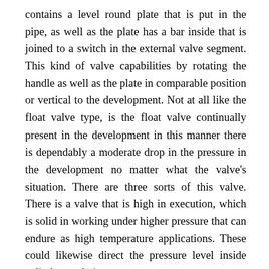contains a level round plate that is put in the pipe, as well as the plate has a bar inside that is joined to a switch in the external valve segment. This kind of valve capabilities by rotating the handle as well as the plate in comparable position or vertical to the development. Not at all like the float valve type, is the float valve continually present in the development in this manner there is dependably a moderate drop in the pressure in the development no matter what the valve's situation. There are three sorts of this valve. There is a valve that is high in execution, which is solid in working under higher pressure that can endure as high temperature applications. These could likewise direct the pressure level inside cylinders and pipes.
Moreover, there are different sorts of these valves that are accessible today, and that would be the haul style and the wafer style. The most famous would be the wafer style valve. This type would be under the plastic valve. Conversely, drag planned valves contain in them embeds